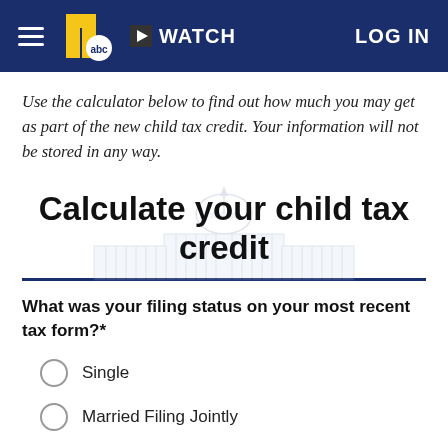WATCH  LOG IN
Use the calculator below to find out how much you may get as part of the new child tax credit. Your information will not be stored in any way.
Calculate your child tax credit
What was your filing status on your most recent tax form?*
Single
Married Filing Jointly